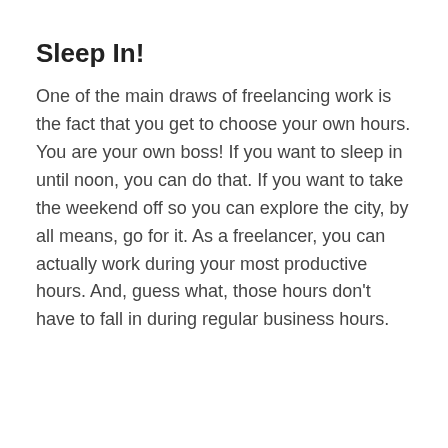Sleep In!
One of the main draws of freelancing work is the fact that you get to choose your own hours. You are your own boss! If you want to sleep in until noon, you can do that. If you want to take the weekend off so you can explore the city, by all means, go for it. As a freelancer, you can actually work during your most productive hours. And, guess what, those hours don't have to fall in during regular business hours.